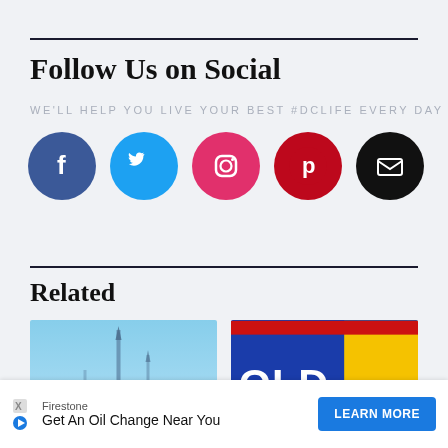Follow Us on Social
WE'LL HELP YOU LIVE YOUR BEST #DCLIFE EVERY DAY
[Figure (infographic): Five social media icon circles: Facebook (dark blue), Twitter (light blue), Instagram (pink/magenta), Pinterest (dark red), Email (black)]
Related
[Figure (photo): Blue sky with building spire/monument silhouette]
[Figure (photo): Old Bay seasoning tin with red top, yellow and blue label]
Firestone
Get An Oil Change Near You
LEARN MORE